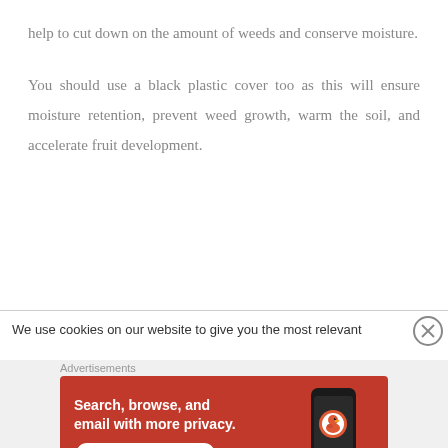help to cut down on the amount of weeds and conserve moisture.
You should use a black plastic cover too as this will ensure moisture retention, prevent weed growth, warm the soil, and accelerate fruit development.
We use cookies on our website to give you the most relevant
Advertisements
[Figure (screenshot): DuckDuckGo advertisement banner: orange/red background with white text 'Search, browse, and email with more privacy.' and 'All in One Free App' button, with a phone showing DuckDuckGo logo on the right.]